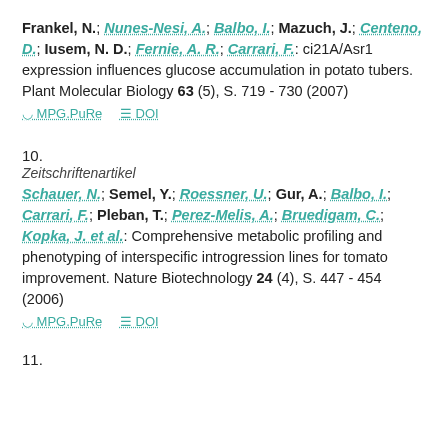Frankel, N.; Nunes-Nesi, A.; Balbo, I.; Mazuch, J.; Centeno, D.; Iusem, N. D.; Fernie, A. R.; Carrari, F.: ci21A/Asr1 expression influences glucose accumulation in potato tubers. Plant Molecular Biology 63 (5), S. 719 - 730 (2007)
MPG.PuRe   DOI
10.
Zeitschriftenartikel
Schauer, N.; Semel, Y.; Roessner, U.; Gur, A.; Balbo, I.; Carrari, F.; Pleban, T.; Perez-Melis, A.; Bruedigam, C.; Kopka, J. et al.: Comprehensive metabolic profiling and phenotyping of interspecific introgression lines for tomato improvement. Nature Biotechnology 24 (4), S. 447 - 454 (2006)
MPG.PuRe   DOI
11.